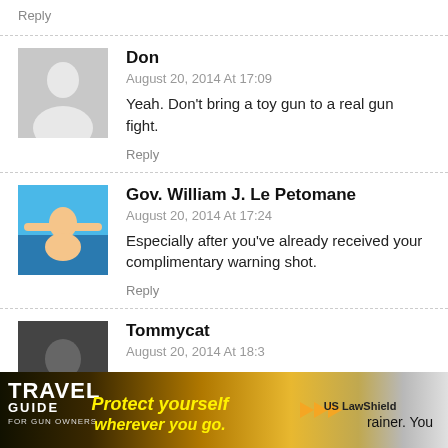Reply
Don
August 20, 2014 At 17:09
Yeah. Don't bring a toy gun to a real gun fight.
Reply
Gov. William J. Le Petomane
August 20, 2014 At 17:24
Especially after you've already received your complimentary warning shot.
Reply
Tommycat
August 20, 2014 At 18:3
rainer. You
[Figure (illustration): Travel Guide for Gun Owners advertisement banner with text 'Protect yourself wherever you go.' and US Law Shield logo]